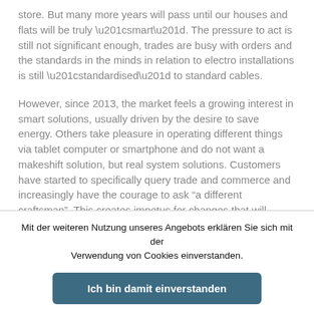store. But many more years will pass until our houses and flats will be truly “smart”. The pressure to act is still not significant enough, trades are busy with orders and the standards in the minds in relation to electro installations is still “standardised” to standard cables.
However, since 2013, the market feels a growing interest in smart solutions, usually driven by the desire to save energy. Others take pleasure in operating different things via tablet computer or smartphone and do not want a makeshift solution, but real system solutions. Customers have started to specifically query trade and commerce and increasingly have the courage to ask “a different craftsman”. This creates impetus for changes that will change the market. However, „the“ SmartHome will not exist in the foreseeable future, because
Mit der weiteren Nutzung unseres Angebots erklären Sie sich mit der Verwendung von Cookies einverstanden.
Ich bin damit einverstanden